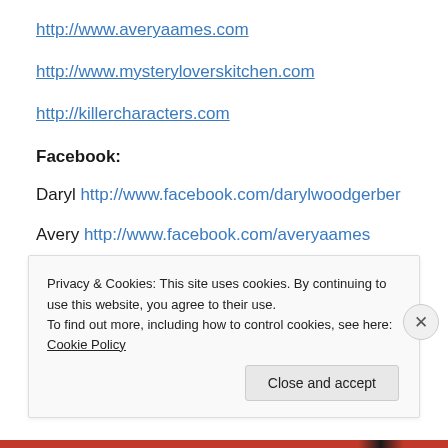http://www.averyaames.com
http://www.mysteryloverskitchen.com
http://killercharacters.com
Facebook:
Daryl http://www.facebook.com/darylwoodgerber
Avery http://www.facebook.com/averyaames
Twitter: @AveryAames @DarylWoodGerb...
Privacy & Cookies: This site uses cookies. By continuing to use this website, you agree to their use.
To find out more, including how to control cookies, see here: Cookie Policy
Close and accept